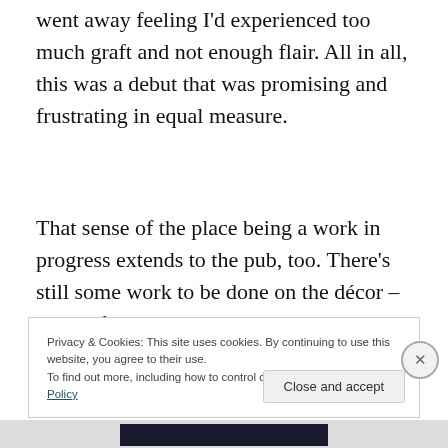went away feeling I'd experienced too much graft and not enough flair. All in all, this was a debut that was promising and frustrating in equal measure.
That sense of the place being a work in progress extends to the pub, too. There's still some work to be done on the décor – some of the stools have their
Privacy & Cookies: This site uses cookies. By continuing to use this website, you agree to their use.
To find out more, including how to control cookies, see here: Cookie Policy